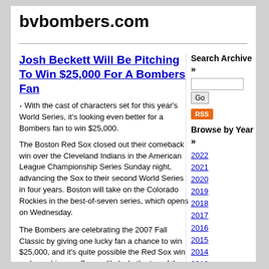bvbombers.com
Josh Beckett Will Be Pitching To Win $25,000 For A Bombers Fan
· With the cast of characters set for this year's World Series, it's looking even better for a Bombers fan to win $25,000.
The Boston Red Sox closed out their comeback win over the Cleveland Indians in the American League Championship Series Sunday night, advancing the Sox to their second World Series in four years. Boston will take on the Colorado Rockies in the best-of-seven series, which opens on Wednesday.
The Bombers are celebrating the 2007 Fall Classic by giving one lucky fan a chance to win $25,000, and it's quite possible the Red Sox win makes a big payoff more likely. In the top of the third inning of Game 1, if the Red Sox strike out
Search Archive »
RSS
Browse by Year »
2022
2021
2020
2019
2018
2017
2016
2015
2014
2013
2012
2011